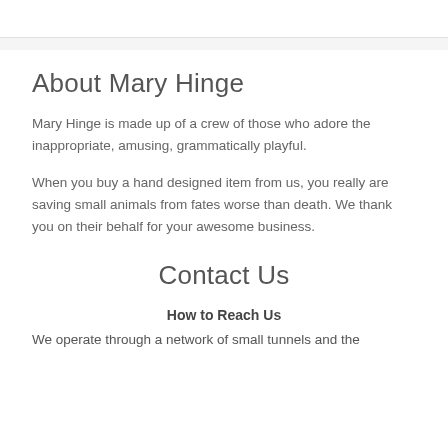About Mary Hinge
Mary Hinge is made up of a crew of those who adore the inappropriate, amusing, grammatically playful.
When you buy a hand designed item from us, you really are saving small animals from fates worse than death. We thank you on their behalf for your awesome business.
Contact Us
How to Reach Us
We operate through a network of small tunnels and the